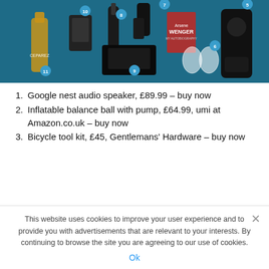[Figure (photo): Product flatlay on dark teal background showing numbered items including whisky bottle (11), lighter (10), hair clipper (8), book 'Arsene Wenger' (7), coffee machine (5), whisky glasses (6), bicycle tool kit (9), and other gadgets]
1. Google nest audio speaker, £89.99 – buy now
2. Inflatable balance ball with pump, £64.99, umi at Amazon.co.uk – buy now
3. Bicycle tool kit, £45, Gentlemans' Hardware – buy now
This website uses cookies to improve your user experience and to provide you with advertisements that are relevant to your interests. By continuing to browse the site you are agreeing to our use of cookies.
Ok